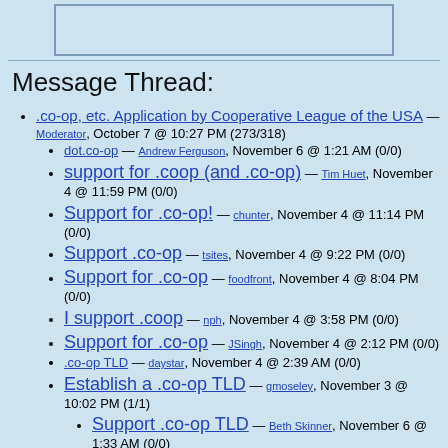[Figure (other): Empty rectangular box at top of page]
Message Thread:
.co-op, etc. Application by Cooperative League of the USA — Moderator, October 7 @ 10:27 PM (273/318)
dot.co-op — Andrew Ferguson, November 6 @ 1:21 AM (0/0)
support for .coop (and .co-op) — Tim Huet, November 4 @ 11:59 PM (0/0)
Support for .co-op! — chunter, November 4 @ 11:14 PM (0/0)
Support .co-op — tsites, November 4 @ 9:22 PM (0/0)
Support for .co-op — foodfront, November 4 @ 8:04 PM (0/0)
I support .coop — nph, November 4 @ 3:58 PM (0/0)
Support for .co-op — JSingh, November 4 @ 2:12 PM (0/0)
.co-op TLD — daystar, November 4 @ 2:39 AM (0/0)
Establish a .co-op TLD — gmoseley, November 3 @ 10:02 PM (1/1)
Support .co-op TLD — Beth Skinner, November 6 @ 1:33 AM (0/0)
Support for .coop — Manon Ress, November 3 @ 9:11